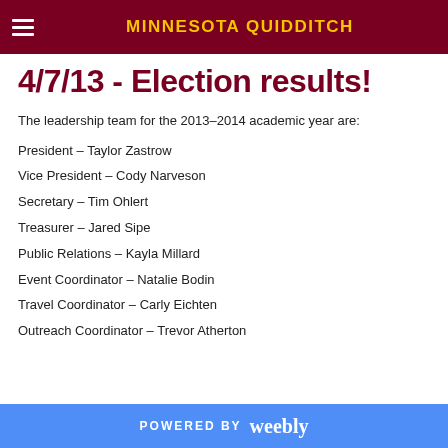MINNESOTA QUIDDITCH
4/7/13 - Election results!
The leadership team for the 2013-2014 academic year are:
President – Taylor Zastrow
Vice President – Cody Narveson
Secretary – Tim Ohlert
Treasurer – Jared Sipe
Public Relations – Kayla Millard
Event Coordinator – Natalie Bodin
Travel Coordinator – Carly Eichten
Outreach Coordinator – Trevor Atherton
POWERED BY weebly